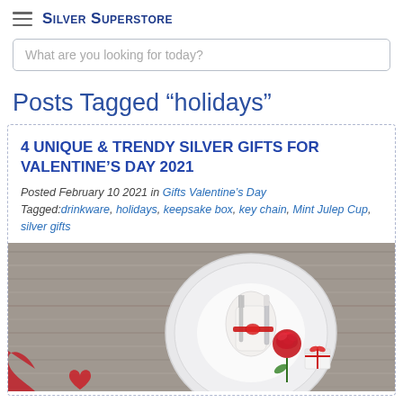Silver Superstore
What are you looking for today?
Posts Tagged “holidays”
4 UNIQUE & TRENDY SILVER GIFTS FOR VALENTINE’S DAY 2021
Posted February 10 2021 in Gifts Valentine’s Day
Tagged:drinkware, holidays, keepsake box, key chain, Mint Julep Cup, silver gifts
[Figure (photo): Valentine's Day place setting with white plate, silverware tied with red ribbon, a red rose, and a small gift box on a rustic wooden background with red heart]